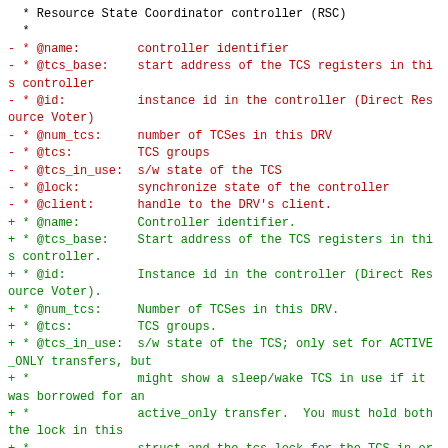Code diff showing documentation changes for Resource State Coordinator controller (RSC) struct fields including @name, @tcs_base, @id, @num_tcs, @tcs, @tcs_in_use, @lock, @client with red lines (removed) and green lines (added).